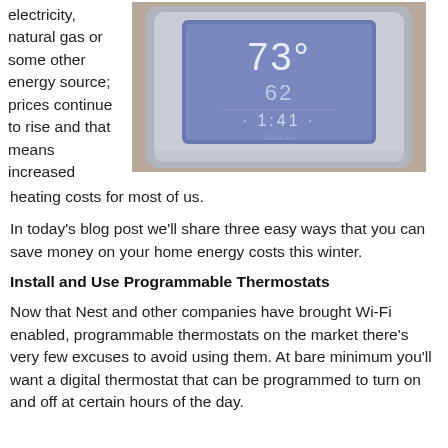electricity, natural gas or some other energy source; prices continue to rise and that means increased heating costs for most of us.
[Figure (photo): A programmable digital thermostat mounted on a wall, displaying temperature reading of 73 and 62 with time 1:41, with a blue-lit screen and silver/beige casing.]
In today’s blog post we’ll share three easy ways that you can save money on your home energy costs this winter.
Install and Use Programmable Thermostats
Now that Nest and other companies have brought Wi-Fi enabled, programmable thermostats on the market there’s very few excuses to avoid using them. At bare minimum you’ll want a digital thermostat that can be programmed to turn on and off at certain hours of the day.